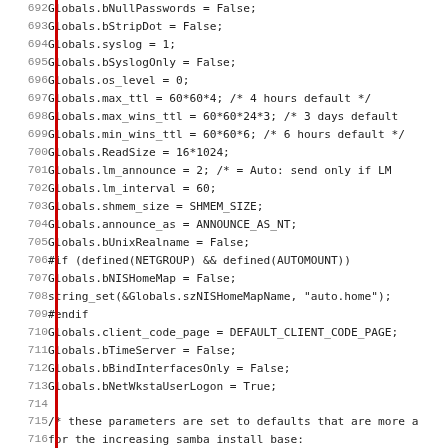[Figure (screenshot): Source code listing lines 692-723 showing C code initializing Globals struct fields and a comment block about samba defaults]